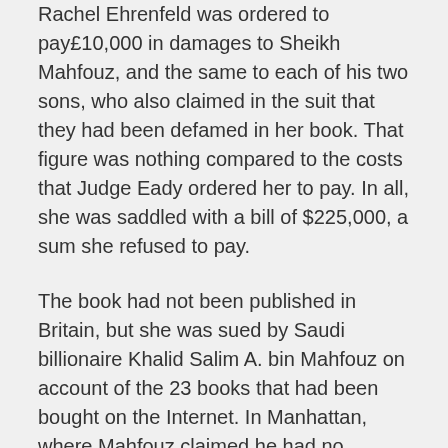Rachel Ehrenfeld was ordered to pay£10,000 in damages to Sheikh Mahfouz, and the same to each of his two sons, who also claimed in the suit that they had been defamed in her book. That figure was nothing compared to the costs that Judge Eady ordered her to pay. In all, she was saddled with a bill of $225,000, a sum she refused to pay.
The book had not been published in Britain, but she was sued by Saudi billionaire Khalid Salim A. bin Mahfouz on account of the 23 books that had been bought on the Internet. In Manhattan, where Mahfouz claimed he had no financial business, his representatives tried to serve orders onto Dr. Ehrenfeld, attempting to make her pay the amount ordered in Britain.
Dr. Ehrenfeld counter-sued in New York, claiming that Mr. Justice Eady's order was inapplicable, as UK libel law contradicts American Constitutional protections on 15 different...